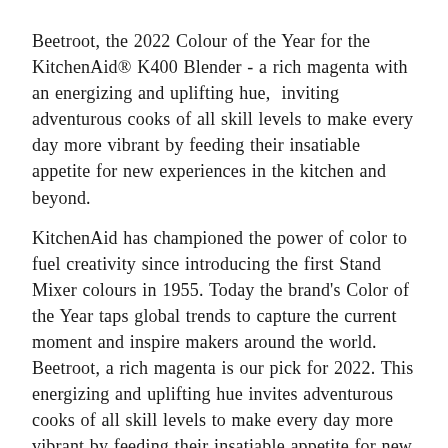Beetroot, the 2022 Colour of the Year for the KitchenAid® K400 Blender - a rich magenta with an energizing and uplifting hue,  inviting  adventurous cooks of all skill levels to make every day more vibrant by feeding their insatiable appetite for new experiences in the kitchen and beyond.
KitchenAid has championed the power of color to fuel creativity since introducing the first Stand Mixer colours in 1955. Today the brand's Color of the Year taps global trends to capture the current moment and inspire makers around the world. Beetroot, a rich magenta is our pick for 2022. This energizing and uplifting hue invites adventurous cooks of all skill levels to make every day more vibrant by feeding their insatiable appetite for new experiences in the kitchen and beyond.
Blend Toughest Ingredients - easily power through